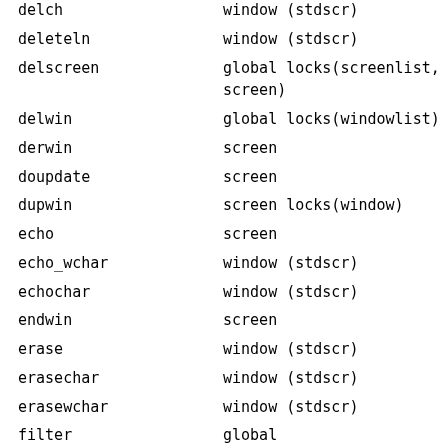| Function | Scope/Lock |
| --- | --- |
| delch | window (stdscr) |
| deleteln | window (stdscr) |
| delscreen | global locks(screenlist, screen) |
| delwin | global locks(windowlist) |
| derwin | screen |
| doupdate | screen |
| dupwin | screen locks(window) |
| echo | screen |
| echo_wchar | window (stdscr) |
| echochar | window (stdscr) |
| endwin | screen |
| erase | window (stdscr) |
| erasechar | window (stdscr) |
| erasewchar | window (stdscr) |
| filter | global |
| flash | terminal |
| flushinp | screen |
| get_wch | screen (input-operation) |
| get_wch | screen (input-operation) |